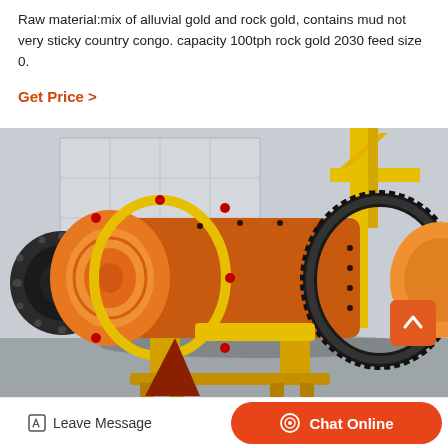Raw material:mix of alluvial gold and rock gold, contains mud not very sticky country congo. capacity 100tph rock gold 2030 feed size 0.
Get Price  >
[Figure (photo): Industrial ball mill machine painted orange and yellow, with large cylindrical drum, ring gear, and motor assembly, photographed outdoors in a factory yard]
Leave Message   Chat Online